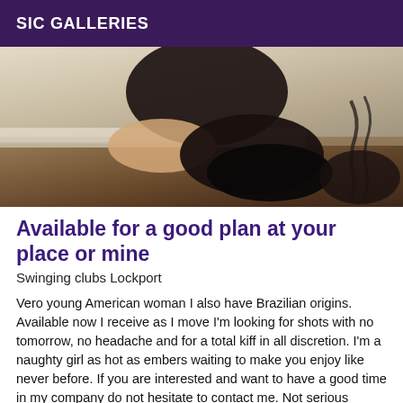SIC GALLERIES
[Figure (photo): Close-up photo of a person's feet/ankles wearing black shoes/boots near a wall and floor]
Available for a good plan at your place or mine
Swinging clubs Lockport
Vero young American woman I also have Brazilian origins. Available now I receive as I move I'm looking for shots with no tomorrow, no headache and for a total kiff in all discretion. I'm a naughty girl as hot as embers waiting to make you enjoy like never before. If you are interested and want to have a good time in my company do not hesitate to contact me. Not serious abstain thank